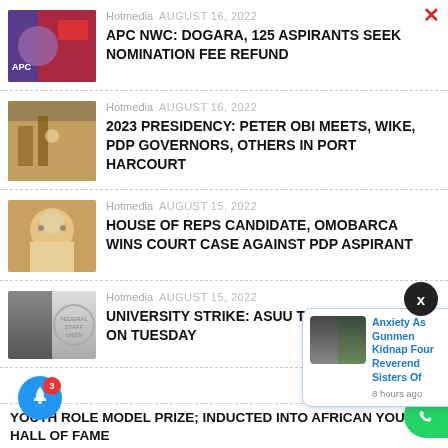Hotmedia  AUGUST 16, 2022
APC NWC: DOGARA, 125 ASPIRANTS SEEK NOMINATION FEE REFUND
Hotmedia  AUGUST 16, 2022
2023 PRESIDENCY: PETER OBI MEETS, WIKE, PDP GOVERNORS, OTHERS IN PORT HARCOURT
Hotmedia  AUGUST 15, 2022
HOUSE OF REPS CANDIDATE, OMOBARCA WINS COURT CASE AGAINST PDP ASPIRANT
Hotmedia  AUGUST 15, 2022
UNIVERSITY STRIKE: ASUU TO MEET WITH FG ON TUESDAY
[Figure (screenshot): Notification popup: Anxiety As Gunmen Kidnap Four Reverend Sisters Of - 8 hours ago]
YOUTH ROLE MODEL PRIZE; INDUCTED INTO AFRICAN YOUTH HALL OF FAME